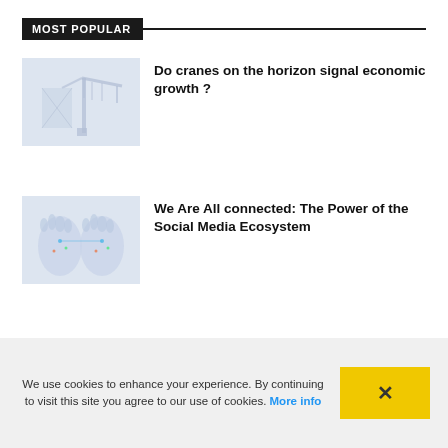MOST POPULAR
[Figure (photo): Crane against sky - construction/economic growth image thumbnail]
Do cranes on the horizon signal economic growth ?
[Figure (photo): Two hands with social media network connections illustrated on palms]
We Are All connected: The Power of the Social Media Ecosystem
Cloud Computing can level the field for SMEs
We use cookies to enhance your experience. By continuing to visit this site you agree to our use of cookies. More info